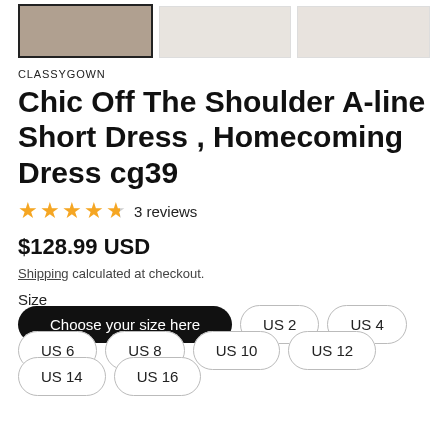[Figure (photo): Three product thumbnail images of a dress — first is selected (bordered), second and third are unselected.]
CLASSYGOWN
Chic Off The Shoulder A-line Short Dress , Homecoming Dress cg39
4.67 stars — 3 reviews
$128.99 USD
Shipping calculated at checkout.
Size
Choose your size here
US 2
US 4
US 6
US 8
US 10
US 12
US 14
US 16